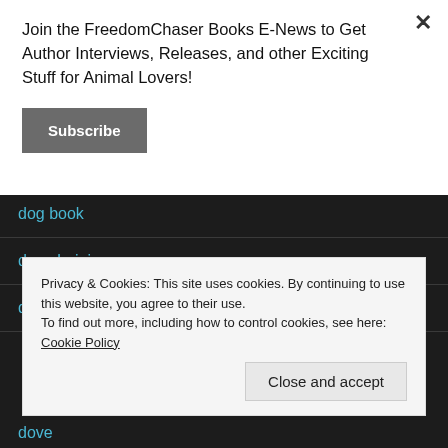Join the FreedomChaser Books E-News to Get Author Interviews, Releases, and other Exciting Stuff for Animal Lovers!
Subscribe
dog book
dog chaining
dog coloring book
Privacy & Cookies: This site uses cookies. By continuing to use this website, you agree to their use. To find out more, including how to control cookies, see here: Cookie Policy
Close and accept
dove